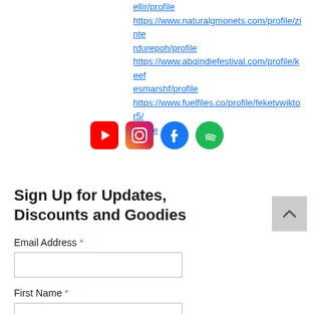ellir/profile https://www.naturalgmonets.com/profile/zinterdurepoh/profile https://www.abqindiefestival.com/profile/keefesmarshf/profile https://www.fuelfiles.co/profile/feketywiktor5/profile
[Figure (infographic): Row of 4 social media icons: YouTube (red), Instagram (gradient), Facebook (blue), Spotify (green)]
Sign Up for Updates, Discounts and Goodies
Email Address *
First Name *